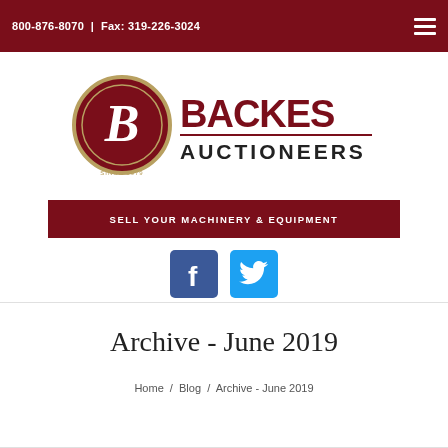800-876-8070 | Fax: 319-226-3024
[Figure (logo): Backes Auctioneers logo with circular badge and bold text]
SELL YOUR MACHINERY & EQUIPMENT
[Figure (illustration): Facebook and Twitter social media icons]
Archive - June 2019
Home / Blog / Archive - June 2019